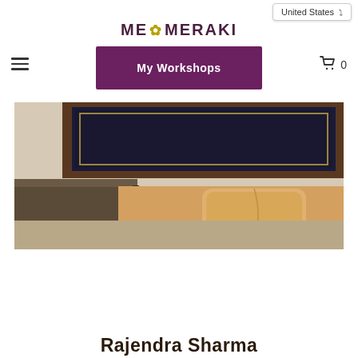United States
ME MERAKI
My Workshops
[Figure (photo): Interior room scene with a framed dark artwork on a beige wall, an orange cushion on a sofa, and a dark wooden side table]
Rajendra Sharma